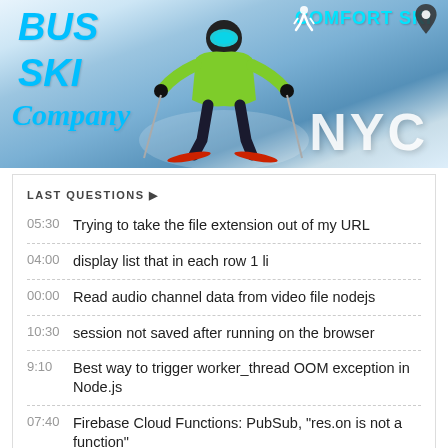[Figure (photo): Banner image of a skier in a green jacket with ski goggles on a snowy slope. Text overlays: 'BUS', 'SKI', 'Company' in cyan/blue on the left; 'COMFORT SKI' with skier and pin icons top right; 'NYC' large white text bottom right.]
LAST QUESTIONS ▶
05:30  Trying to take the file extension out of my URL
04:00  display list that in each row 1 li
00:00  Read audio channel data from video file nodejs
10:30  session not saved after running on the browser
9:10  Best way to trigger worker_thread OOM exception in Node.js
07:40  Firebase Cloud Functions: PubSub, "res.on is not a function"
04:00  TypeError: Cannot read properties of undefined (reading